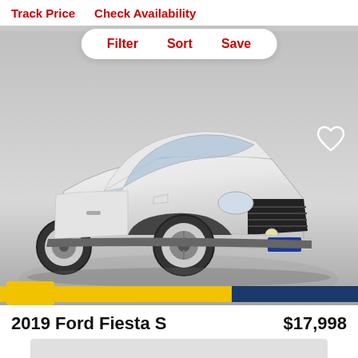Track Price   Check Availability
Filter   Sort   Save
[Figure (photo): White 2019 Ford Fiesta S sedan photographed from a front 3/4 angle in a studio setting with a CarMax dealer badge visible on the front bumper.]
2019 Ford Fiesta S
$17,998
[Figure (other): Gray placeholder rectangle, likely a loading area for additional content.]